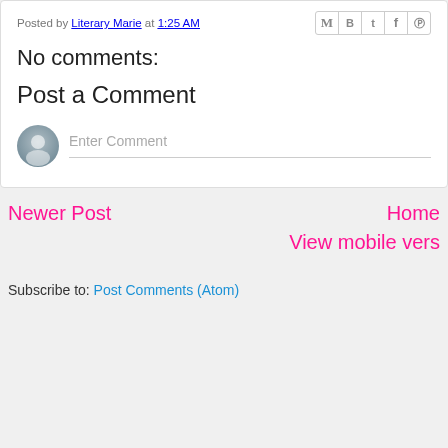Posted by Literary Marie at 1:25 AM
No comments:
Post a Comment
[Figure (illustration): Default user avatar icon (grey silhouette) next to an 'Enter Comment' placeholder input field]
Newer Post | Home
View mobile vers
Subscribe to: Post Comments (Atom)